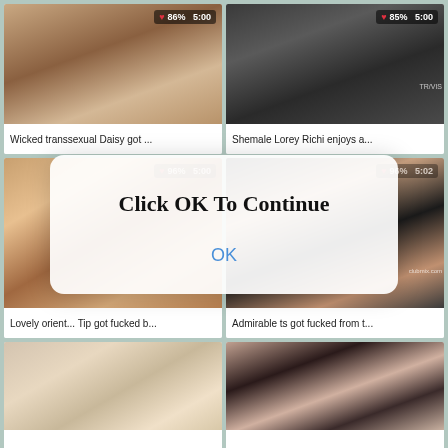[Figure (screenshot): Video thumbnail grid showing adult content video thumbnails with titles and ratings]
Wicked transsexual Daisy got ...
Shemale Lorey Richi enjoys a...
Lovely orient... Tip got fucked b...
Admirable ts got fucked from t...
Click OK To Continue
OK